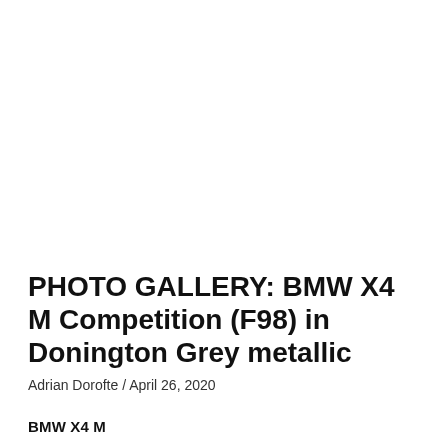PHOTO GALLERY: BMW X4 M Competition (F98) in Donington Grey metallic
Adrian Dorofte / April 26, 2020
BMW X4 M